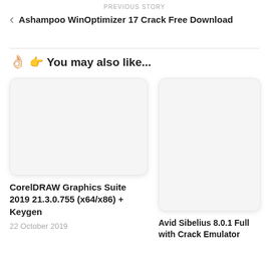PREVIOUS STORY
< Ashampoo WinOptimizer 17 Crack Free Download
👆 You may also like...
[Figure (other): Blank white card placeholder image for CorelDRAW Graphics Suite article]
CorelDRAW Graphics Suite 2019 21.3.0.755 (x64/x86) + Keygen
22 October 2019
[Figure (other): Blank white card placeholder image for Avid Sibelius article]
Avid Sibelius 8.0.1 Full with Crack Emulator